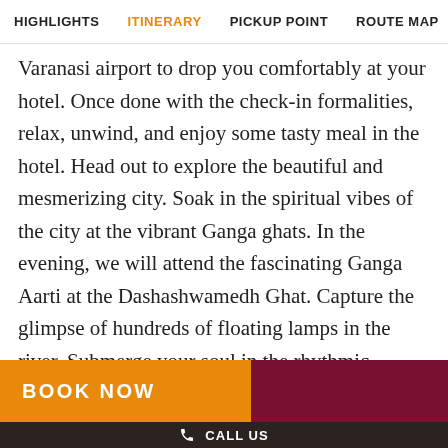HIGHLIGHTS  ITINERARY  PICKUP POINT  ROUTE MAP
Varanasi airport to drop you comfortably at your hotel. Once done with the check-in formalities, relax, unwind, and enjoy some tasty meal in the hotel. Head out to explore the beautiful and mesmerizing city. Soak in the spiritual vibes of the city at the vibrant Ganga ghats. In the evening, we will attend the fascinating Ganga Aarti at the Dashashwamedh Ghat. Capture the glimpse of hundreds of floating lamps in the river. Submerge your soul in the rhythmic
BOOK NOW
CALL US